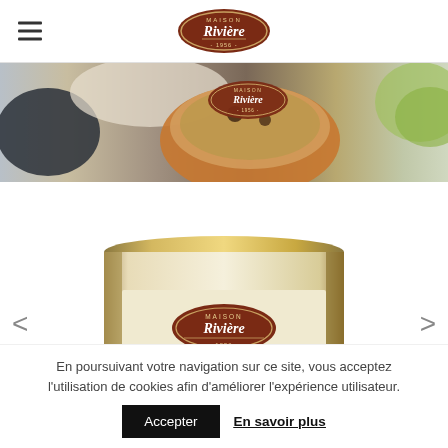Maison Rivière – navigation header with hamburger menu and logo
[Figure (photo): Hero banner showing a cassoulet dish in a terracotta pot with the Maison Rivière 1956 logo overlay, flanked by tableware and salad]
[Figure (photo): Product can of Cassoulet de Castelnaudary by Maison Rivière 1956, shown in a carousel with left and right navigation arrows]
En poursuivant votre navigation sur ce site, vous acceptez l'utilisation de cookies afin d'améliorer l'expérience utilisateur.
Accepter   En savoir plus